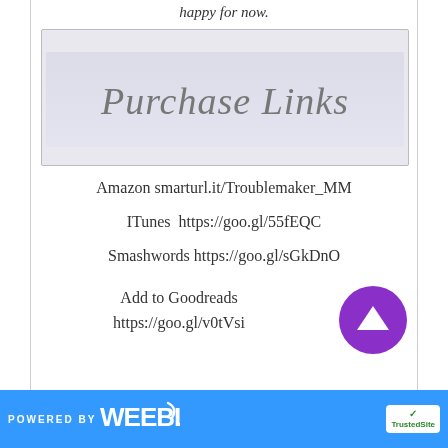happy for now.
[Figure (other): Purchase Links banner image with italic text on light grey/blue textured background]
Amazon smarturl.it/Troublemaker_MM
ITunes  https://goo.gl/55fEQC
Smashwords https://goo.gl/sGkDnO
Add to Goodreads
https://goo.gl/v0tVsi
POWERED BY weebly | TrustedSite